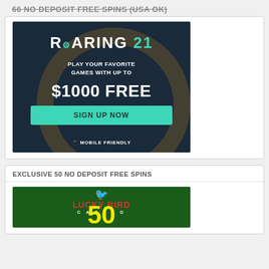66 NO DEPOSIT FREE SPINS (USA OK)
[Figure (advertisement): Roaring 21 casino ad: dark background with casino chip graphic. Text reads ROARING 21, PLAY YOUR FAVORITE GAMES WITH UP TO $1000 FREE, SIGN UP NOW button, MOBILE FRIENDLY]
EXCLUSIVE 50 NO DEPOSIT FREE SPINS
[Figure (advertisement): Lucky Bird Casino ad: dark green background with bird logo and red LUCKY BIRD CASINO text, large yellow number 50 at the bottom]